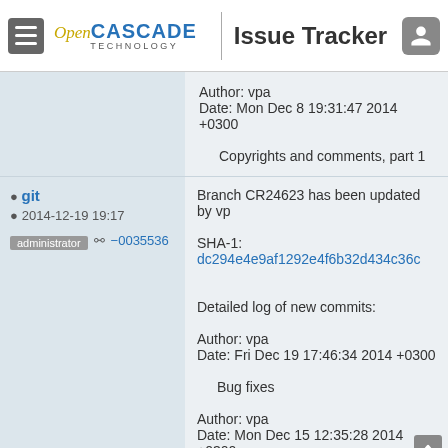Open Cascade Technology | Issue Tracker
Author: vpa
Date: Mon Dec 8 19:31:47 2014 +0300

Copyrights and comments, part 1
git
2014-12-19 19:17
administrator  −0035536
Branch CR24623 has been updated by vp
SHA-1: dc294e4e9af1292e4f6b32d434c36c...

Detailed log of new commits:

Author: vpa
Date: Fri Dec 19 17:46:34 2014 +0300

Bug fixes

Author: vpa
Date: Mon Dec 15 12:35:28 2014 +0300